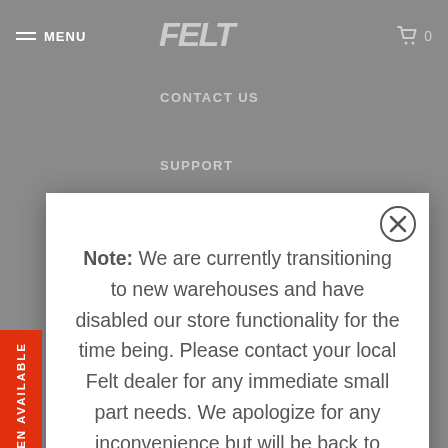MENU | FELT | 0
CONTACT US
SUPPORT
Note: We are currently transitioning to new warehouses and have disabled our store functionality for the time being. Please contact your local Felt dealer for any immediate small part needs. We apologize for any inconvenience but will be back to support you as soon as possible.
NOTIFY ME WHEN AVAILABLE
ARCHIVED BIKES
TERMS & CONDITIONS